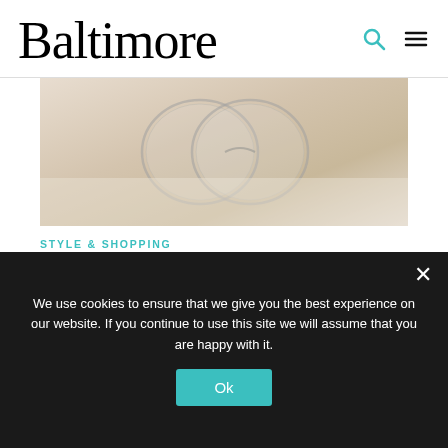Baltimore
[Figure (photo): Close-up photo of clear-framed glasses on a light cream fabric background]
STYLE & SHOPPING
Four Easy Accessory Trends to Revive Your Wardrobe This Summer
Where to shop for pieces that will add a dash of dare and fun.
[Figure (infographic): Social share icons: Facebook, Twitter, LinkedIn]
We use cookies to ensure that we give you the best experience on our website. If you continue to use this site we will assume that you are happy with it.